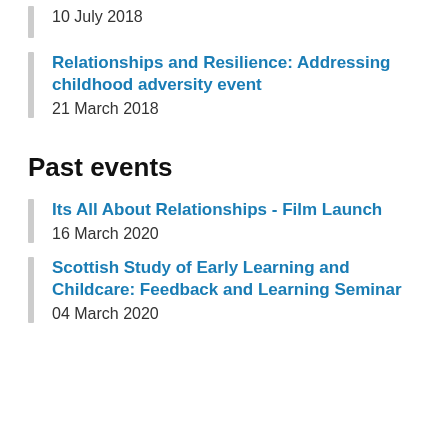10 July 2018
Relationships and Resilience: Addressing childhood adversity event
21 March 2018
Past events
Its All About Relationships - Film Launch
16 March 2020
Scottish Study of Early Learning and Childcare: Feedback and Learning Seminar
04 March 2020